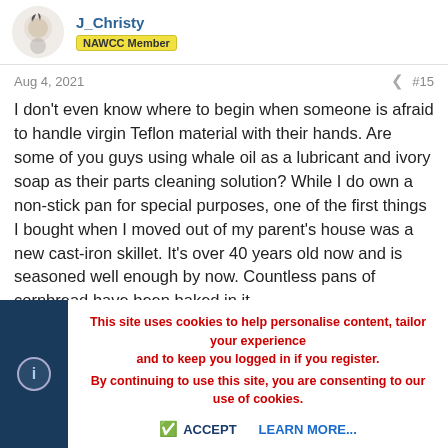J_Christy — NAWCC Member
Aug 4, 2021  #15
I don't even know where to begin when someone is afraid to handle virgin Teflon material with their hands. Are some of you guys using whale oil as a lubricant and ivory soap as their parts cleaning solution? While I do own a non-stick pan for special purposes, one of the first things I bought when I moved out of my parent's house was a new cast-iron skillet. It's over 40 years old now and is seasoned well enough by now. Countless pans of cornbread have been baked in it.
Last edited: Aug 4, 2021
Rod Schaffter and RJSoftware
This site uses cookies to help personalise content, tailor your experience and to keep you logged in if you register. By continuing to use this site, you are consenting to our use of cookies.
ACCEPT    LEARN MORE...